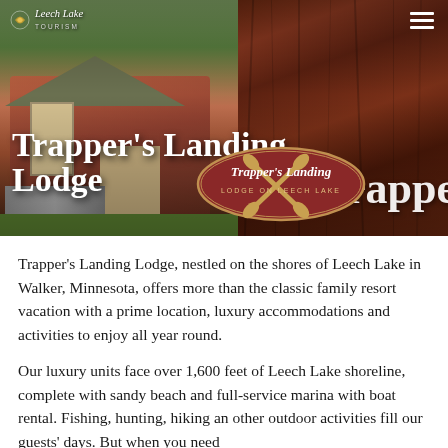[Figure (photo): Hero banner showing Trapper's Landing Lodge building on the left with trees and landscaping, transitioning to dark wood texture on the right. Overlaid with lodge logo oval and title text.]
Trapper's Landing Lodge
Trapper's Landing Lodge, nestled on the shores of Leech Lake in Walker, Minnesota, offers more than the classic family resort vacation with a prime location, luxury accommodations and activities to enjoy all year round.
Our luxury units face over 1,600 feet of Leech Lake shoreline, complete with sandy beach and full-service marina with boat rental. Fishing, hunting, hiking an other outdoor activities fill our guests' days. But when you need